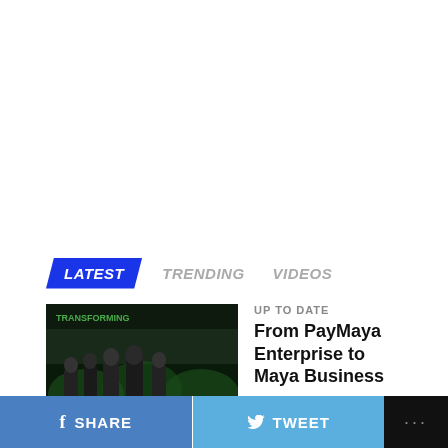[Figure (other): White space / blank top area of webpage screenshot]
LATEST   TRENDING   VIDEOS
[Figure (photo): Thumbnail image of group of people on stage at a corporate event with green lighting and Maya branding]
UP TO DATE
From PayMaya Enterprise to Maya Business
[Figure (photo): Thumbnail image of a second news article, partially visible]
NEWS
SHARE   TWEET   ...